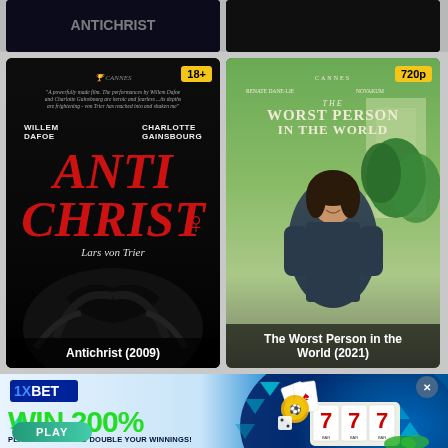[Figure (screenshot): Partially cropped movie poster (dark/title partially visible) - top left]
[Figure (screenshot): Partially cropped movie poster (dark background) - top right]
[Figure (photo): Movie poster for Antichrist (2009) by Lars von Trier, with 18+ badge, dark background with red title text, starring Willem Dafoe and Charlotte Gainsbourg]
Antichrist (2009)
[Figure (photo): Movie poster for The Worst Person in the World (2021), 720p badge, outdoor scene with woman smiling, Cannes selection]
The Worst Person in the World (2021)
[Figure (infographic): 1XBET advertisement banner: WIN 200% - PLAY 1XGAMES AND DOUBLE YOUR WINNINGS! with PLAY button and casino imagery (slot machine 777, playing cards, roulette, chips)]